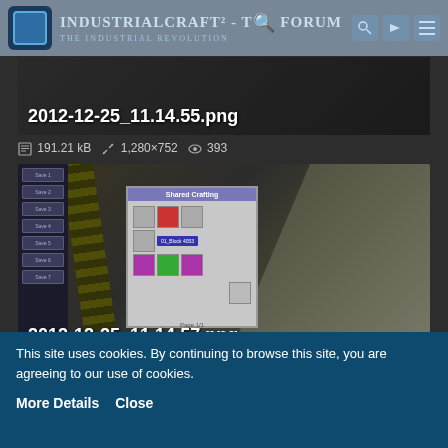IndustrialCraft² - The Forum - The Industrial Revolution
[Figure (screenshot): Dark Minecraft screenshot thumbnail with filename caption 2012-12-25_11.14.55.png]
191.21 kB   1,280×752   393
[Figure (screenshot): Minecraft screenshot showing a Shared Crafting dialog with items including 01_Block 4053 tooltip, with sidebar Save buttons. Filename: 2012-12-25_11.14.57.png]
This site uses cookies. By continuing to browse this site, you are agreeing to our use of cookies.
More Details   Close